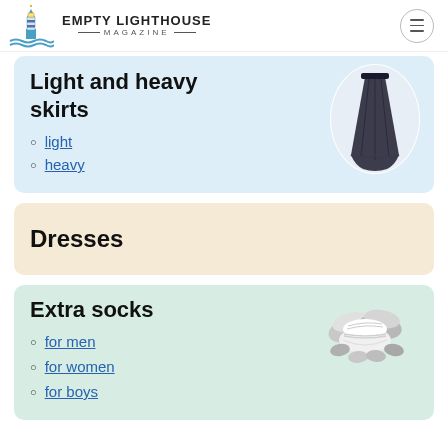EMPTY LIGHTHOUSE MAGAZINE
Light and heavy skirts
light
heavy
[Figure (photo): A long dark navy blue flowy maxi skirt displayed on white circle background]
Dresses
Extra socks
for men
for women
for boys
[Figure (photo): Multiple white and gray ankle socks bundled together on a light green background]